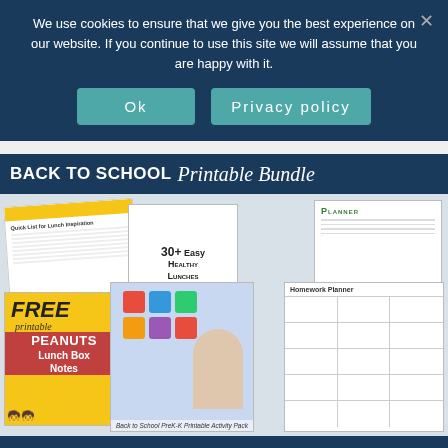We use cookies to ensure that we give you the best experience on our website. If you continue to use this site we will assume that you are happy with it.
Ok
Privacy policy
[Figure (illustration): Back to School Printable Bundle promotional banner showing various printable worksheets, activity packs, homework planners, lunch box notes, and educational materials for children]